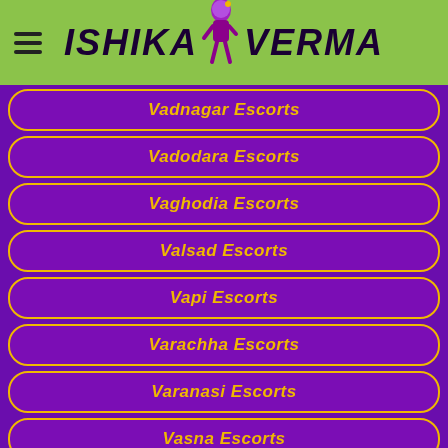ISHIKA VERMA
Vadnagar Escorts
Vadodara Escorts
Vaghodia Escorts
Valsad Escorts
Vapi Escorts
Varachha Escorts
Varanasi Escorts
Vasna Escorts
Vastrapur Escorts
Vastrapur Lake Escorts
Veraval Escorts